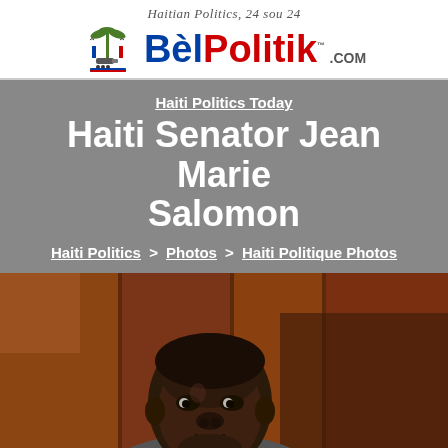Haitian Politics, 24 sou 24 — BèlPolitik.com
Haiti Politics Today
Haiti Senator Jean Marie Salomon
Haiti Politics > Photos > Haiti Politique Photos
[Figure (photo): Portrait photo of Haiti Senator Jean Marie Salomon, a Black man in a grey suit with purple tie, against a warm wooden background.]